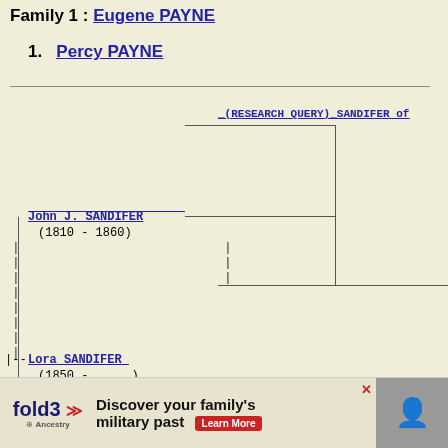Family 1 : Eugene PAYNE
1.  Percy PAYNE
[Figure (organizational-chart): Genealogy family tree diagram showing SANDIFER family connections. Includes: (RESEARCH QUERY) SANDIFER of [truncated], John J. SANDIFER (1810-1860), Lora SANDIFER (1850-....), David MORGAN (1780-1836) m 1806, Nancy [truncated] (1810- [truncated])]
[Figure (infographic): Advertisement overlay for fold3 by Ancestry: 'Discover your family's military past' with Learn More button]